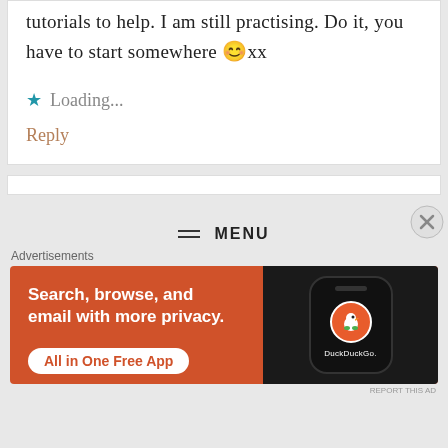tutorials to help. I am still practising. Do it, you have to start somewhere 😊xx
⭐ Loading...
Reply
≡ MENU
Advertisements
[Figure (other): DuckDuckGo advertisement banner with orange background. Text reads: Search, browse, and email with more privacy. All in One Free App. Shows a phone with DuckDuckGo logo.]